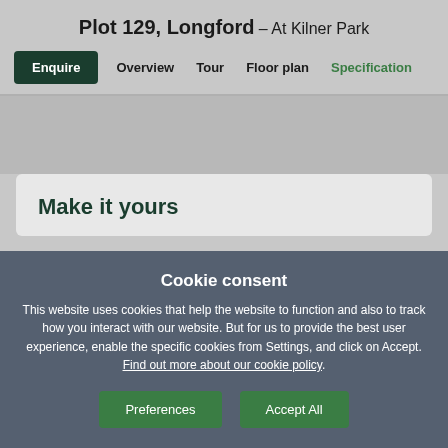Plot 129, Longford – At Kilner Park
Enquire  Overview  Tour  Floor plan  Specification
Make it yours
Cookie consent
This website uses cookies that help the website to function and also to track how you interact with our website. But for us to provide the best user experience, enable the specific cookies from Settings, and click on Accept. Find out more about our cookie policy.
Preferences  Accept All